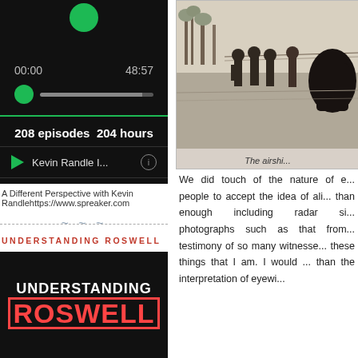[Figure (screenshot): Podcast player app screenshot showing episode list for 'A Different Perspective with Kevin Randle'. Shows time 00:00 / 48:57, progress bar with green knob, 208 episodes, 204 hours, and episode entries for 'Kevin Randle I...']
A Different Perspective with Kevin Randlehttps://www.spreaker.com
UNDERSTANDING ROSWELL
[Figure (photo): Book cover for 'Understanding Roswell' showing title text in white and red on dark background]
[Figure (photo): Black and white historical photograph showing people near what appears to be an airship or early aircraft structure]
The airshi...
We did touch of the nature of e... people to accept the idea of ali... than enough including radar si... photographs such as that from... testimony of so many witnesse... these things that I am. I would ... than the interpretation of eyewi...